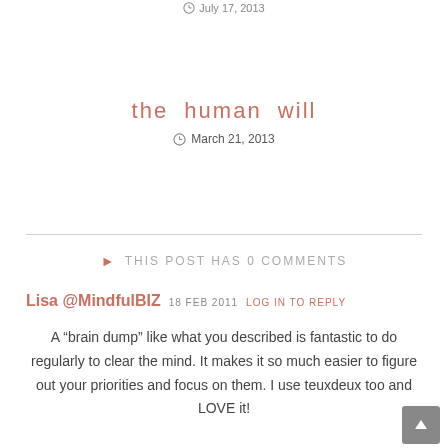July 17, 2013
the human will
March 21, 2013
THIS POST HAS 0 COMMENTS
Lisa @MindfulBIZ  18 FEB 2011  LOG IN TO REPLY
A “brain dump” like what you described is fantastic to do regularly to clear the mind. It makes it so much easier to figure out your priorities and focus on them. I use teuxdeux too and LOVE it!